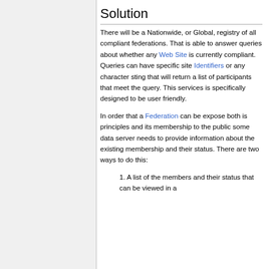Solution
There will be a Nationwide, or Global, registry of all compliant federations. That is able to answer queries about whether any Web Site is currently compliant. Queries can have specific site Identifiers or any character sting that will return a list of participants that meet the query. This services is specifically designed to be user friendly.
In order that a Federation can be expose both is principles and its membership to the public some data server needs to provide information about the existing membership and their status. There are two ways to do this:
1. A list of the members and their status that can be viewed in a